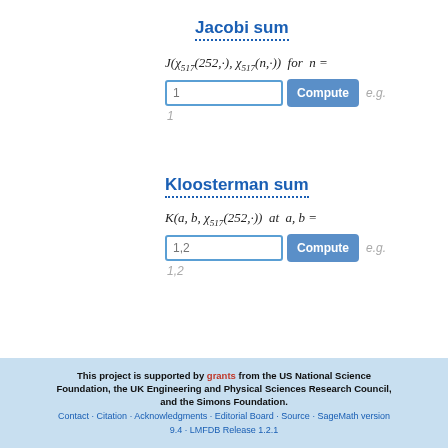Jacobi sum
Compute input: 1, e.g. 1
Kloosterman sum
Compute input: 1,2, e.g. 1,2
This project is supported by grants from the US National Science Foundation, the UK Engineering and Physical Sciences Research Council, and the Simons Foundation. Contact · Citation · Acknowledgments · Editorial Board · Source · SageMath version 9.4 · LMFDB Release 1.2.1